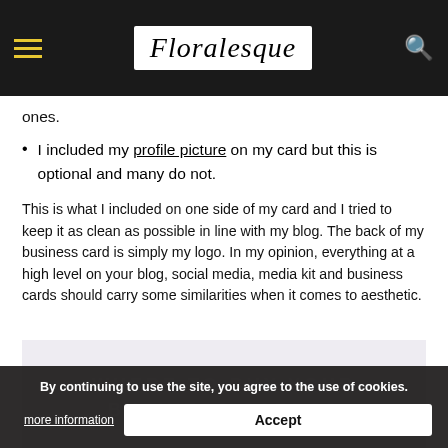Floralesque
ones.
I included my profile picture on my card but this is optional and many do not.
This is what I included on one side of my card and I tried to keep it as clean as possible in line with my blog. The back of my business card is simply my logo. In my opinion, everything at a high level on your blog, social media, media kit and business cards should carry some similarities when it comes to aesthetic.
[Figure (infographic): Light purple/lavender banner with text 'WHERE TO BUY YOUR BUSINESS CARDS?' in bold uppercase white lettered text]
There are so many places on line to buy from and it is up to you whether you decide to buy online or local. I personally decided to go with Vistaprint as I found them quite affordable and the website was easy to navigate. I would advise regardless of who you use online – search for coupon codes and also check the shipping cost before buying.